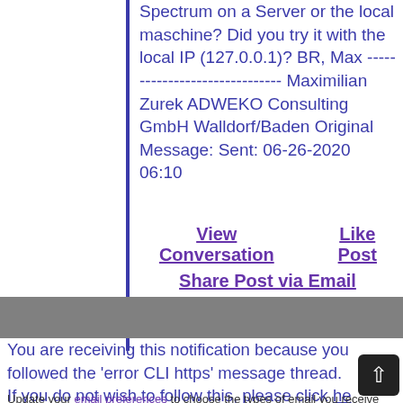Spectrum on a Server or the local maschine? Did you try it with the local IP (127.0.0.1)? BR, Max ------------------------------ Maximilian Zurek ADWEKO Consulting GmbH Walldorf/Baden Original Message: Sent: 06-26-2020 06:10
View Conversation    Like Post
Share Post via Email
Flag as Inappropriate
[Figure (other): Gray horizontal bar, likely an image or divider]
You are receiving this notification because you followed the 'error CLI https' message thread. If you do not wish to follow this, please click he
Update your email preferences to choose the types of email you receive